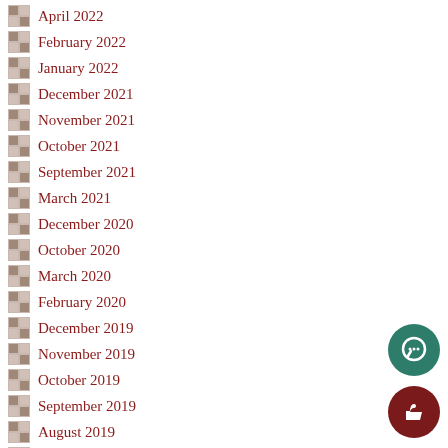April 2022
February 2022
January 2022
December 2021
November 2021
October 2021
September 2021
March 2021
December 2020
October 2020
March 2020
February 2020
December 2019
November 2019
October 2019
September 2019
August 2019
May 2019
April 2019